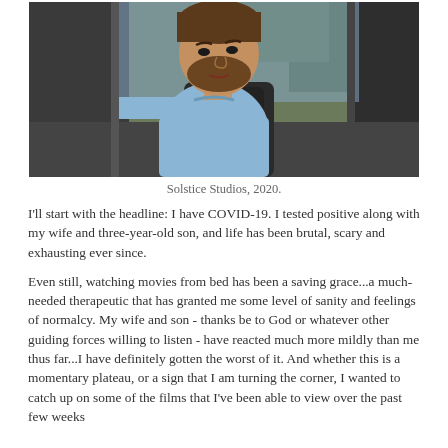[Figure (photo): A bearded man in a light blue shirt leaning out of a car window, looking intensely to the side. Trees visible in background. Dark car interior visible.]
Solstice Studios, 2020.
I'll start with the headline: I have COVID-19. I tested positive along with my wife and three-year-old son, and life has been brutal, scary and exhausting ever since.
Even still, watching movies from bed has been a saving grace...a much-needed therapeutic that has granted me some level of sanity and feelings of normalcy. My wife and son - thanks be to God or whatever other guiding forces willing to listen - have reacted much more mildly than me thus far...I have definitely gotten the worst of it. And whether this is a momentary plateau, or a sign that I am turning the corner, I wanted to catch up on some of the films that I've been able to view over the past few weeks